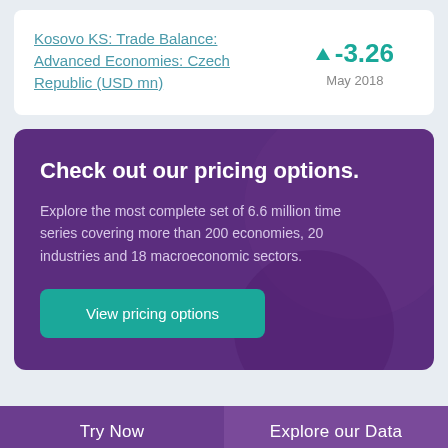Kosovo KS: Trade Balance: Advanced Economies: Czech Republic (USD mn)
▲ -3.26 May 2018
Check out our pricing options.
Explore the most complete set of 6.6 million time series covering more than 200 economies, 20 industries and 18 macroeconomic sectors.
View pricing options
Try Now
Explore our Data